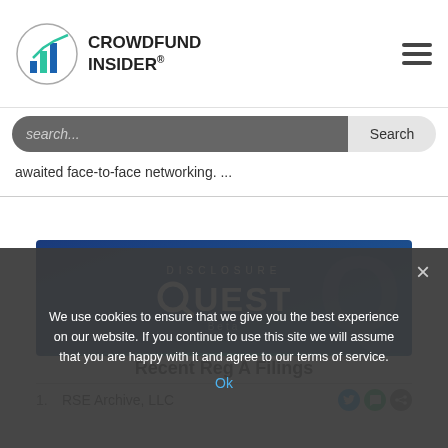CROWDFUND INSIDER
search...
awaited face-to-face networking. ...
[Figure (logo): Disclosure Quest Beta banner advertisement on blue background]
We use cookies to ensure that we give you the best experience on our website. If you continue to use this site we will assume that you are happy with it and agree to our terms of service.
Ok
Recent Reg A Filings
RSE Archive, LLC